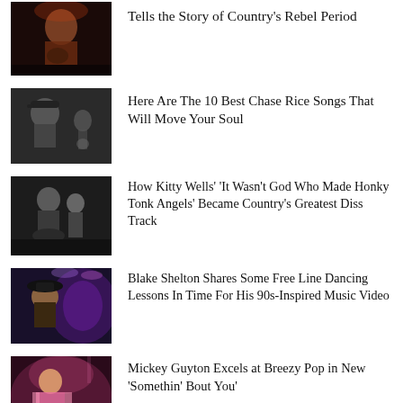[Figure (photo): Woman performing on stage with guitar, red/dark tones]
Tells the Story of Country's Rebel Period
[Figure (photo): Man in cap black and white portrait with guitar player in background]
Here Are The 10 Best Chase Rice Songs That Will Move Your Soul
[Figure (photo): Black and white photo of Kitty Wells with another person]
How Kitty Wells' 'It Wasn't God Who Made Honky Tonk Angels' Became Country's Greatest Diss Track
[Figure (photo): Blake Shelton in cowboy hat with purple-lit concert in background]
Blake Shelton Shares Some Free Line Dancing Lessons In Time For His 90s-Inspired Music Video
[Figure (photo): Mickey Guyton performing on stage in pink outfit]
Mickey Guyton Excels at Breezy Pop in New 'Somethin' Bout You'